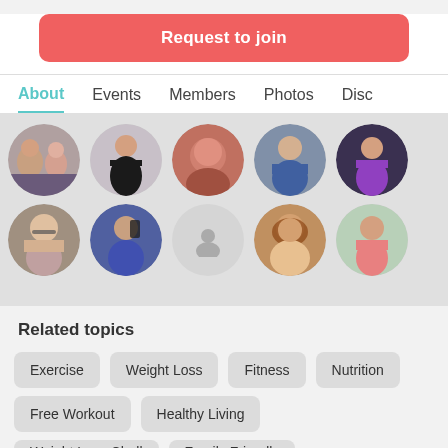Request to join
About  Events  Members  Photos  Disc
[Figure (photo): Grid of circular member profile photos, two rows of 5 avatars each, with one placeholder icon]
Related topics
Exercise
Weight Loss
Fitness
Nutrition
Free Workout
Healthy Living
Weight Loss Chall...
Family Friendly...